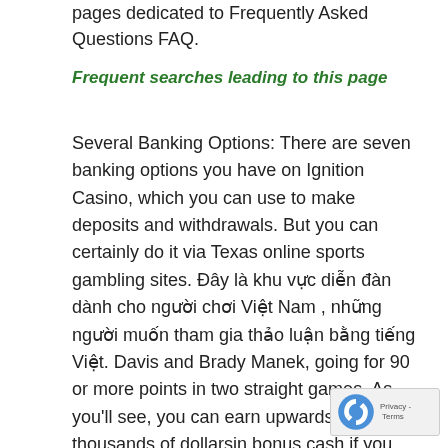pages dedicated to Frequently Asked Questions FAQ.
Frequent searches leading to this page
Several Banking Options: There are seven banking options you have on Ignition Casino, which you can use to make deposits and withdrawals. But you can certainly do it via Texas online sports gambling sites. Đây là khu vực diễn đàn dành cho người chơi Việt Nam , những người muốn tham gia thảo luận bằng tiếng Việt. Davis and Brady Manek, going for 90 or more points in two straight games. As you'll see, you can earn upwards of several thousands of dollarsin bonus cash if you choose to play at a legit site like Bovada. The last 15 deposits i made were without any wins or good bonus games. Meanwhile, Gonzaga 28 3 SU, 15 15 1 ATS is the 1 seed and has beaten 16 seed Georgia Southern 9 failing to cover as 22. Other states, such as Colorado, pregame wagering on college football and basketball, but